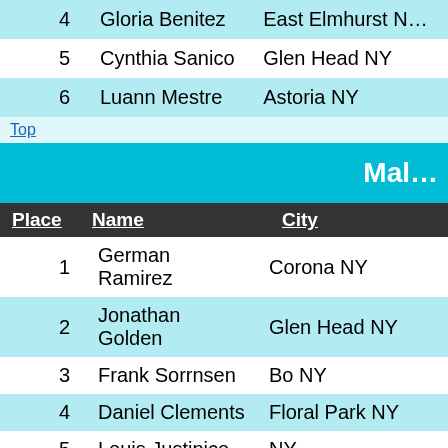| Place | Name | City |
| --- | --- | --- |
| 4 | Gloria Benitez | East Elmhurst NY |
| 5 | Cynthia Sanico | Glen Head NY |
| 6 | Luann Mestre | Astoria NY |
Top
Male
| Place | Name | City |
| --- | --- | --- |
| 1 | German Ramirez | Corona NY |
| 2 | Jonathan Golden | Glen Head NY |
| 3 | Frank Sorrnsen | Bo NY |
| 4 | Daniel Clements | Floral Park NY |
| 5 | Louis Justinico | NY |
| 6 | Sheldon Howard | Saint Johnsville NY |
| 7 | Steve Saldana | East Islip NY |
| 8 | Michael Anderson | Corona NY |
Top
Female